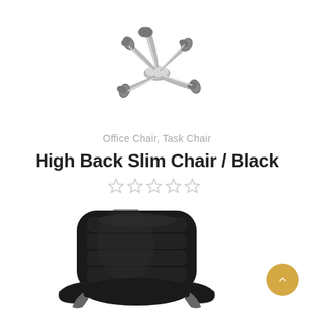[Figure (photo): Bottom view of an office chair showing chrome star base with casters on white background]
Office Chair, Task Chair
High Back Slim Chair / Black
[Figure (other): Five empty star rating icons in light gray]
[Figure (photo): Black leather high-back office chair with padded seat and back, armrests, shown from front-side angle on white background]
[Figure (other): Golden/amber circular scroll-to-top button with upward chevron arrow]